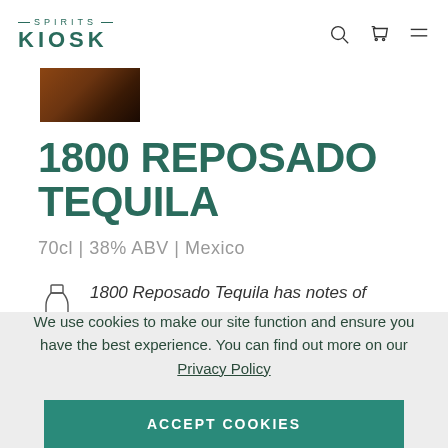SPIRITS KIOSK
[Figure (photo): Product image thumbnail of 1800 Reposado Tequila bottle]
1800 REPOSADO TEQUILA
70cl | 38% ABV | Mexico
1800 Reposado Tequila has notes of
We use cookies to make our site function and ensure you have the best experience. You can find out more on our Privacy Policy
ACCEPT COOKIES